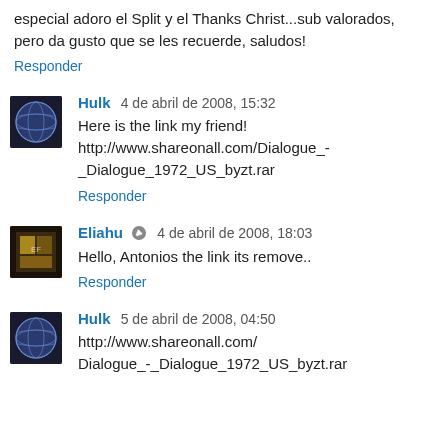especial adoro el Split y el Thanks Christ...sub valorados, pero da gusto que se les recuerde, saludos!
Responder
[Figure (photo): Avatar image: globe/earth on black background]
Hulk  4 de abril de 2008, 15:32
Here is the link my friend!
http://www.shareonall.com/Dialogue_-_Dialogue_1972_US_byzt.rar
Responder
[Figure (photo): Avatar image: stylized graphic, dark background]
Eliahu  4 de abril de 2008, 18:03
Hello, Antonios the link its remove..
Responder
[Figure (photo): Avatar image: globe/earth on black background]
Hulk  5 de abril de 2008, 04:50
http://www.shareonall.com/
Dialogue_-_Dialogue_1972_US_byzt.rar